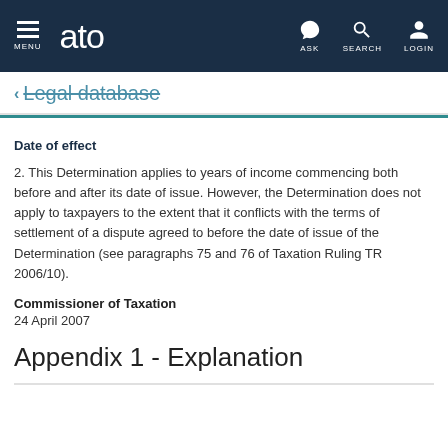ato — MENU | ASK | SEARCH | LOGIN
← Legal database
Date of effect
2. This Determination applies to years of income commencing both before and after its date of issue. However, the Determination does not apply to taxpayers to the extent that it conflicts with the terms of settlement of a dispute agreed to before the date of issue of the Determination (see paragraphs 75 and 76 of Taxation Ruling TR 2006/10).
Commissioner of Taxation
24 April 2007
Appendix 1 - Explanation